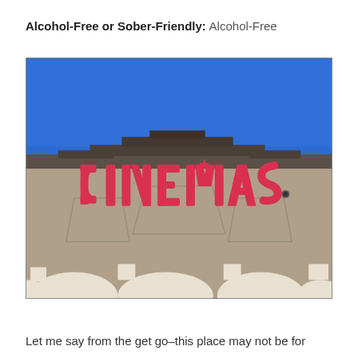Alcohol-Free or Sober-Friendly: Alcohol-Free
[Figure (photo): Exterior photo of a cinema building taken from below, showing a large red 'CINEMAS' sign on a tan/brown stucco wall against a bright blue sky. The roofline has stepped architectural details.]
Let me say from the get go–this place may not be for